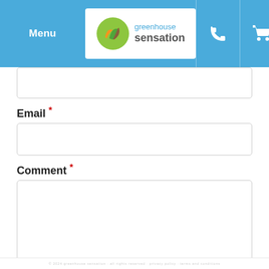Menu | greenhouse sensation
Email *
Comment *
* Required Fields
Submit Comment